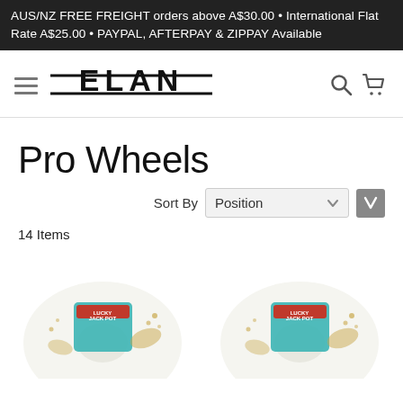AUS/NZ FREE FREIGHT orders above A$30.00 • International Flat Rate A$25.00 • PAYPAL, AFTERPAY & ZIPPAY Available
[Figure (logo): ELAN brand logo in bold black serif-style text with horizontal lines through it]
Pro Wheels
Sort By  Position
14 Items
[Figure (photo): Two skateboard wheels side by side, white with colorful graphic designs showing a jackpot slot machine theme with gold decorative elements]